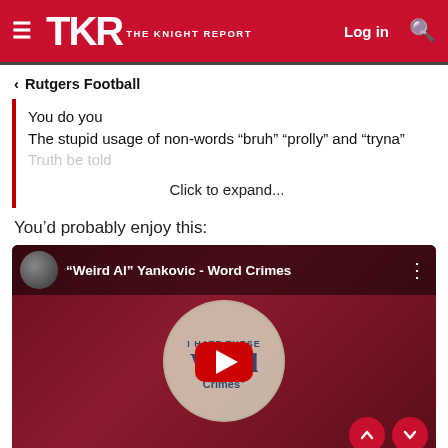TKR THE KNIGHT REPORT — Log in
< Rutgers Football
You do you
The stupid usage of non-words “bruh” “prolly” and “tryna”
Truth be told
Click to expand...
You’d probably enjoy this:
[Figure (screenshot): YouTube video thumbnail for 'Weird Al' Yankovic - Word Crimes, showing a dark red background with a circular album art design reading 'I HATE THESE Word Crimes' and a YouTube play button overlay. Navigation up/down arrows visible at bottom right.]